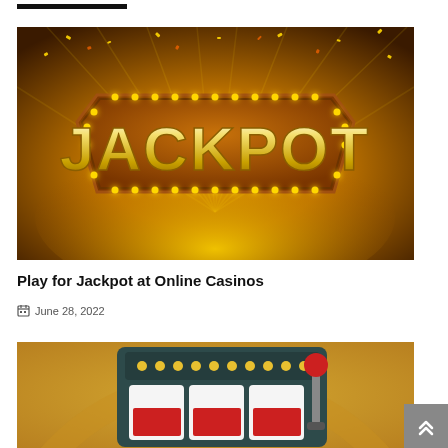[Figure (illustration): Jackpot casino promotional image with golden glowing lights and confetti on dark golden background with text JACKPOT in large metallic letters on a decorative sign board]
Play for Jackpot at Online Casinos
June 28, 2022
[Figure (illustration): Cartoon-style slot machine illustration with dark teal/grey body, yellow dots on top panel, three white reels with red symbols, and a red lever on a golden/yellow background]